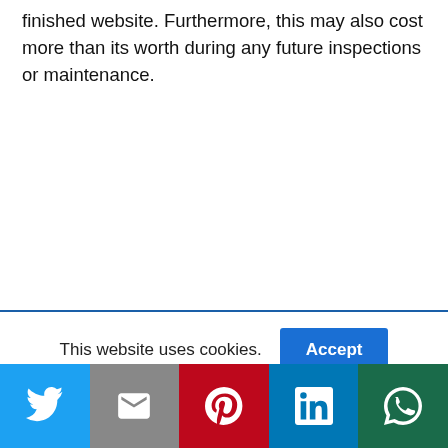finished website. Furthermore, this may also cost more than its worth during any future inspections or maintenance.
This website uses cookies.
[Figure (infographic): Social share bar with Twitter, Gmail, Pinterest, LinkedIn, WhatsApp buttons]